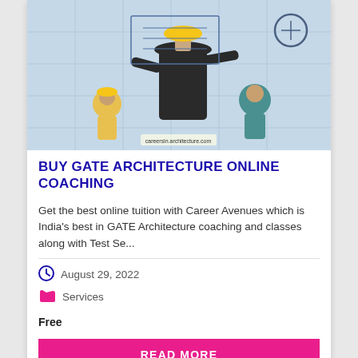[Figure (photo): A man in a suit viewed from behind wearing a yellow hard hat, pointing at architectural blueprints on a wall. Surrounding figures include construction workers and illustrated characters with tools.]
BUY GATE ARCHITECTURE ONLINE COACHING
Get the best online tuition with Career Avenues which is India's best in GATE Architecture coaching and classes along with Test Se...
August 29, 2022
Services
Free
READ MORE
VIEW WEBSITE